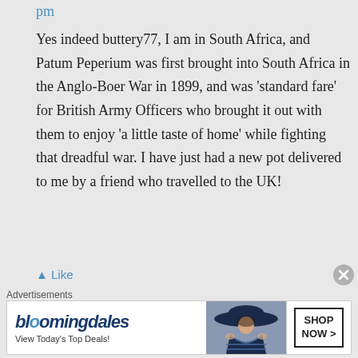pm
Yes indeed buttery77, I am in South Africa, and Patum Peperium was first brought into South Africa in the Anglo-Boer War in 1899, and was 'standard fare' for British Army Officers who brought it out with them to enjoy 'a little taste of home' while fighting that dreadful war. I have just had a new pot delivered to me by a friend who travelled to the UK!
Like
Advertisements
[Figure (other): Bloomingdale's advertisement banner with logo, tagline 'View Today's Top Deals!', a woman with a large hat, and a 'SHOP NOW >' button.]